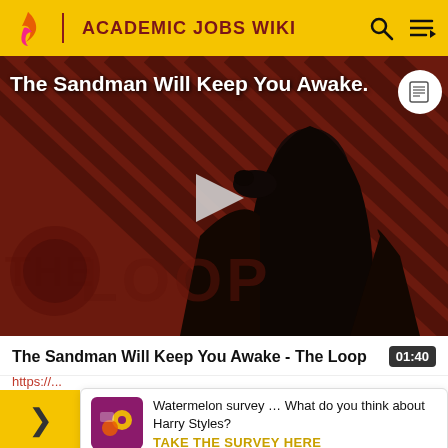ACADEMIC JOBS WIKI
[Figure (screenshot): Video thumbnail showing a dark-cloaked figure against a red-brown diagonal striped background with 'The Loop' logo watermark. A play button is centered. Title overlay reads 'The Sandman Will Keep You Awake.']
The Sandman Will Keep You Awake - The Loop
01:40
https://...
New
USA
Prof
Watermelon survey … What do you think about Harry Styles? TAKE THE SURVEY HERE